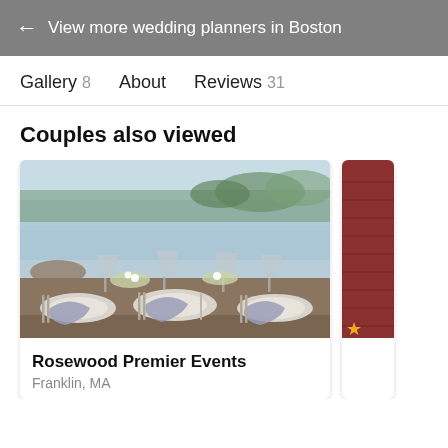← View more wedding planners in Boston
Gallery 8   About   Reviews 31
Couples also viewed
[Figure (photo): Outdoor lakeside wedding table setting with elegant glassware, white plates, cloth napkins, and floral centerpieces, with a calm lake and trees in the background.]
Rosewood Premier Events
Franklin, MA
[Figure (photo): Partial view of a red barn or building exterior, partially visible at right edge.]